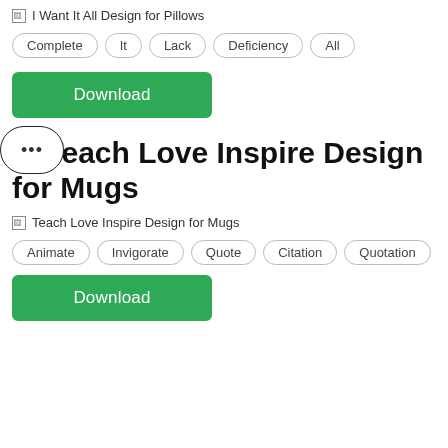[Figure (other): Broken image placeholder with alt text: I Want It All Design for Pillows]
Complete
It
Lack
Deficiency
All
Download
2. Teach Love Inspire Design for Mugs
[Figure (other): Broken image placeholder with alt text: Teach Love Inspire Design for Mugs]
Animate
Invigorate
Quote
Citation
Quotation
Download